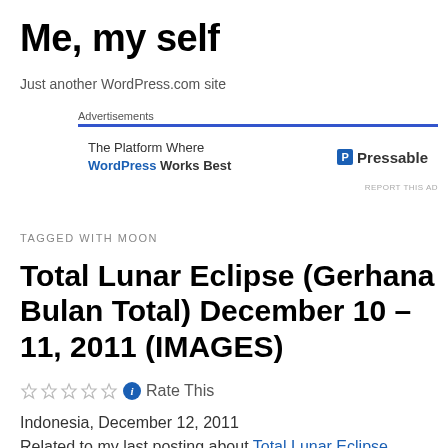Me, my self
Just another WordPress.com site
Advertisements
The Platform Where WordPress Works Best   P Pressable
REPORT THIS AD
TAGGED WITH MOON
Total Lunar Eclipse (Gerhana Bulan Total) December 10 – 11, 2011 (IMAGES)
☆☆☆☆☆ ℹ Rate This
Indonesia, December 12, 2011
Related to my last posting about Total Lunar Eclipse